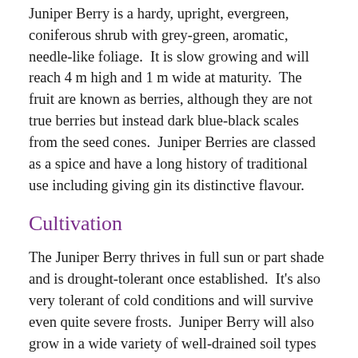Juniper Berry is a hardy, upright, evergreen, coniferous shrub with grey-green, aromatic, needle-like foliage.  It is slow growing and will reach 4 m high and 1 m wide at maturity.  The fruit are known as berries, although they are not true berries but instead dark blue-black scales from the seed cones.  Juniper Berries are classed as a spice and have a long history of traditional use including giving gin its distinctive flavour.
Cultivation
The Juniper Berry thrives in full sun or part shade and is drought-tolerant once established.  It's also very tolerant of cold conditions and will survive even quite severe frosts.  Juniper Berry will also grow in a wide variety of well-drained soil types and pH levels.  The common Juniper Berry is usually dioicous which means that separate male and female plants are required to produce seeds.  However, there are some self-fertile plants available that produce berries on a single shrub and are